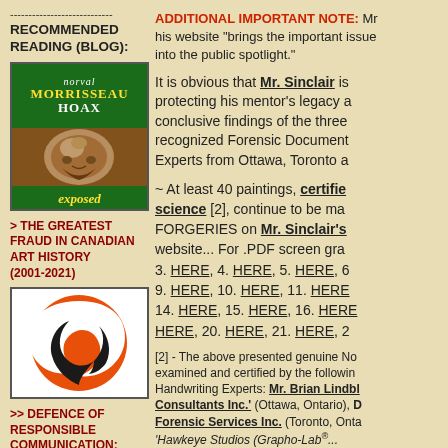----------------------------
RECOMMENDED READING (BLOG):
[Figure (illustration): Book cover for 'norval MORRISSEAU HOAX exposed' with green top and bottom panels with yellow text, and a photo of an elderly man in the center]
> THE GREATEST FRAUD IN CANADIAN ART HISTORY (2001-2021)
[Figure (logo): Logo with orange circle background and black/white swirl design]
>> DEFENCE OF RESPONSIBLE COMMUNICATION:
ADDITIONAL IMPORTANT NOTE: Mr... his website "brings the important issue... into the public spotlight."
It is obvious that Mr. Sinclair is protecting his mentor's legacy a... conclusive findings of the three... recognized Forensic Document... Experts from Ottawa, Toronto a...
~ At least 40 paintings, certified by science [2], continue to be ma... FORGERIES on Mr. Sinclair's website... For .PDF screen gra... 3. HERE, 4. HERE, 5. HERE, 6... 9. HERE, 10. HERE, 11. HERE... 14. HERE, 15. HERE, 16. HERE... HERE, 20. HERE, 21. HERE, 2...
[2] - The above presented genuine No... examined and certified by the following... Handwriting Experts: Mr. Brian Lindb... Consultants Inc.' (Ottawa, Ontario), D... Forensic Services Inc. (Toronto, Onta... 'Hawkeye Studios (Grapho-Lab®...